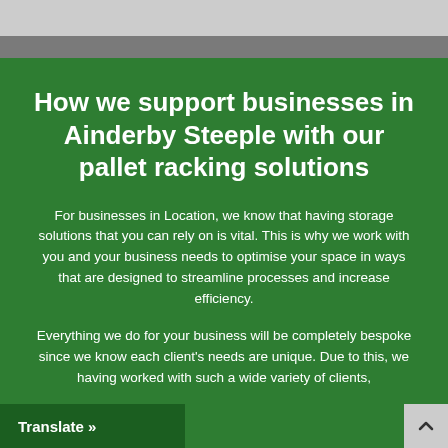[Figure (photo): Top image strip showing a partial photo, likely of a warehouse or racking environment]
How we support businesses in Ainderby Steeple with our pallet racking solutions
For businesses in Location, we know that having storage solutions that you can rely on is vital. This is why we work with you and your business needs to optimise your space in ways that are designed to streamline processes and increase efficiency.
Everything we do for your business will be completely bespoke since we know each client's needs are unique. Due to this, we having worked with such a wide variety of clients,